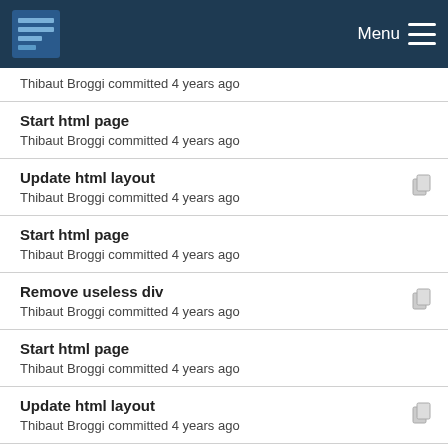Menu
Thibaut Broggi committed 4 years ago
Start html page
Thibaut Broggi committed 4 years ago
Update html layout
Thibaut Broggi committed 4 years ago
Start html page
Thibaut Broggi committed 4 years ago
Remove useless div
Thibaut Broggi committed 4 years ago
Start html page
Thibaut Broggi committed 4 years ago
Update html layout
Thibaut Broggi committed 4 years ago
Start html page